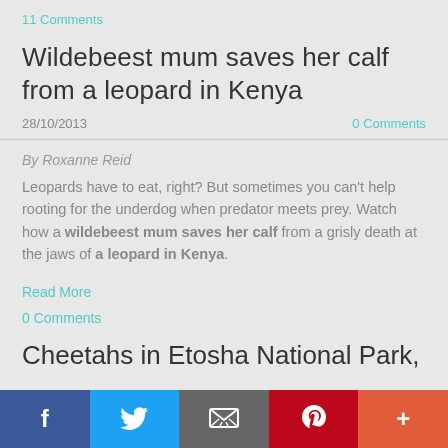11 Comments
Wildebeest mum saves her calf from a leopard in Kenya
28/10/2013
0 Comments
By Roxanne Reid
Leopards have to eat, right? But sometimes you can't help rooting for the underdog when predator meets prey. Watch how a wildebeest mum saves her calf from a grisly death at the jaws of a leopard in Kenya.
Read More
0 Comments
Cheetahs in Etosha National Park,
[Figure (infographic): Social sharing bar with Facebook, Twitter, Email, Pinterest, and More buttons]